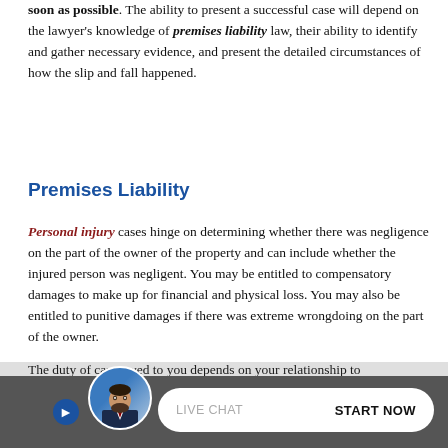soon as possible. The ability to present a successful case will depend on the lawyer's knowledge of premises liability law, their ability to identify and gather necessary evidence, and present the detailed circumstances of how the slip and fall happened.
Premises Liability
Personal injury cases hinge on determining whether there was negligence on the part of the owner of the property and can include whether the injured person was negligent. You may be entitled to compensatory damages to make up for financial and physical loss. You may also be entitled to punitive damages if there was extreme wrongdoing on the part of the owner.
The duty of care owed to you depends on your relationship to the… You… tee if
[Figure (photo): Live chat bar with avatar photo of a man in a suit, and a pill-shaped chat button with LIVE CHAT and START NOW text]